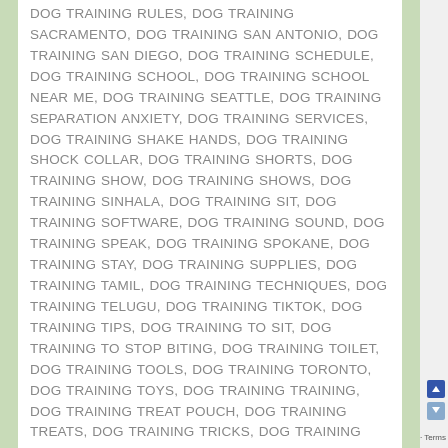DOG TRAINING RULES, DOG TRAINING SACRAMENTO, DOG TRAINING SAN ANTONIO, DOG TRAINING SAN DIEGO, DOG TRAINING SCHEDULE, DOG TRAINING SCHOOL, DOG TRAINING SCHOOL NEAR ME, DOG TRAINING SEATTLE, DOG TRAINING SEPARATION ANXIETY, DOG TRAINING SERVICES, DOG TRAINING SHAKE HANDS, DOG TRAINING SHOCK COLLAR, DOG TRAINING SHORTS, DOG TRAINING SHOW, DOG TRAINING SHOWS, DOG TRAINING SINHALA, DOG TRAINING SIT, DOG TRAINING SOFTWARE, DOG TRAINING SOUND, DOG TRAINING SPEAK, DOG TRAINING SPOKANE, DOG TRAINING STAY, DOG TRAINING SUPPLIES, DOG TRAINING TAMIL, DOG TRAINING TECHNIQUES, DOG TRAINING TELUGU, DOG TRAINING TIKTOK, DOG TRAINING TIPS, DOG TRAINING TO SIT, DOG TRAINING TO STOP BITING, DOG TRAINING TOILET, DOG TRAINING TOOLS, DOG TRAINING TORONTO, DOG TRAINING TOYS, DOG TRAINING TRAINING, DOG TRAINING TREAT POUCH, DOG TRAINING TREATS, DOG TRAINING TRICKS, DOG TRAINING TUCSON, DOG TRAINING TULSA, DOG TRAINING TV SHOWS, DOG TRAINING UDEMY, DOG TRAINING UK, DOG TRAINING ULTRASONIC DEVICES, DOG TRAINING UNDER LEGS, DOG